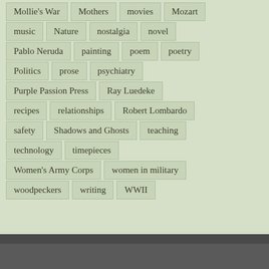Mollie's War
Mothers
movies
Mozart
music
Nature
nostalgia
novel
Pablo Neruda
painting
poem
poetry
Politics
prose
psychiatry
Purple Passion Press
Ray Luedeke
recipes
relationships
Robert Lombardo
safety
Shadows and Ghosts
teaching
technology
timepieces
Women's Army Corps
women in military
woodpeckers
writing
WWII